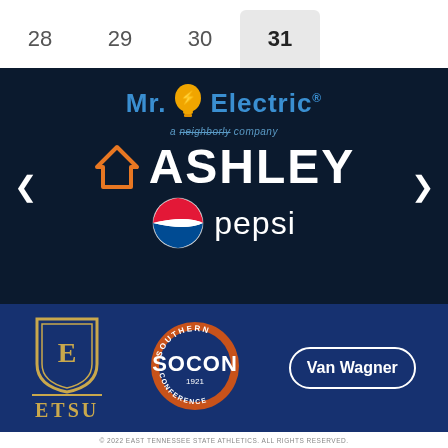28  29  30  31
[Figure (logo): Mr. Electric - a Neighborly company sponsor logo on dark navy background, with carousel arrows]
[Figure (logo): Ashley Furniture logo - orange house icon with white ASHLEY text]
[Figure (logo): Pepsi logo with globe icon and white pepsi text]
[Figure (logo): ETSU (East Tennessee State University) shield logo in gold]
[Figure (logo): SoCon (Southern Conference) logo, 1921, circular badge in orange and navy]
[Figure (logo): Van Wagner logo in white with rounded rectangle border]
© 2022 EAST TENNESSEE STATE ATHLETICS. ALL RIGHTS RESERVED.